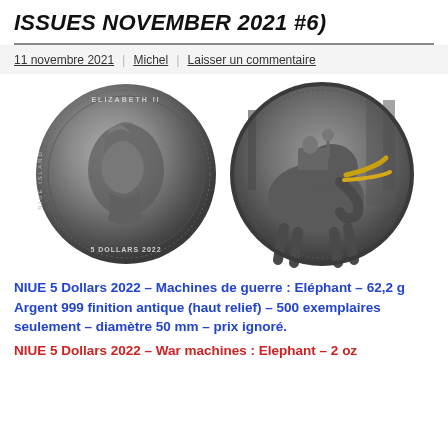ISSUES NOVEMBER 2021 #6)
11 novembre 2021 | Michel | Laisser un commentaire
[Figure (photo): Two sides of a silver coin: obverse showing Queen Elizabeth II portrait with text ELIZABETH II, NIUE ISLAND, 5 DOLLARS 2022; reverse showing War Elephant scene with gold-colored tusks, antique finish]
NIUE 5 Dollars 2022 – Machines de guerre : Eléphant – 62,2 g Argent 999 finition antique (haut relief) – 500 exemplaires seulement – diamètre 50 mm – prix ignoré.
NIUE 5 Dollars 2022 – War machines : Elephant – 2 oz